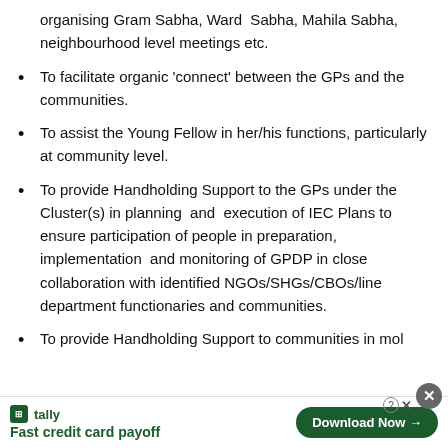organising Gram Sabha, Ward Sabha, Mahila Sabha, neighbourhood level meetings etc.
To facilitate organic 'connect' between the GPs and the communities.
To assist the Young Fellow in her/his functions, particularly at community level.
To provide Handholding Support to the GPs under the Cluster(s) in planning and execution of IEC Plans to ensure participation of people in preparation, implementation and monitoring of GPDP in close collaboration with identified NGOs/SHGs/CBOs/line department functionaries and communities.
To provide Handholding Support to communities in mol